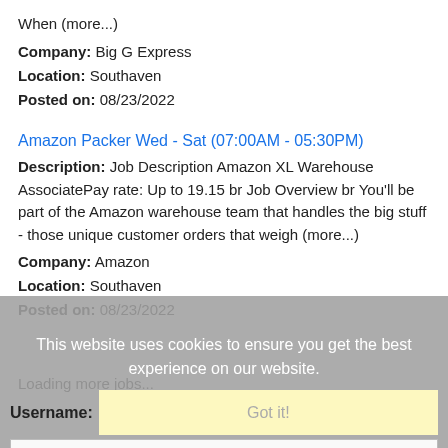When (more...)
Company: Big G Express
Location: Southaven
Posted on: 08/23/2022
Amazon Packer Wed - Sat (07:00AM - 05:30PM)
Description: Job Description Amazon XL Warehouse AssociatePay rate: Up to 19.15 br Job Overview br You'll be part of the Amazon warehouse team that handles the big stuff - those unique customer orders that weigh (more...)
Company: Amazon
Location: Southaven
Posted on: 08/23/2022
Loading more jobs...
This website uses cookies to ensure you get the best experience on our website.
Learn more
Log In or Create An Account
Username:
Got it!